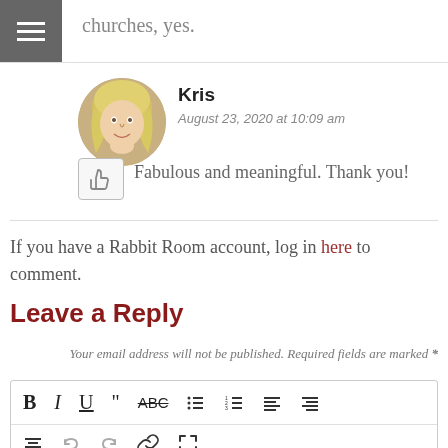churches, yes.
[Figure (photo): Avatar photo of commenter Kris, a woman with blonde hair, circular crop]
Kris
August 23, 2020 at 10:09 am
Fabulous and meaningful. Thank you!
If you have a Rabbit Room account, log in here to comment.
Leave a Reply
Your email address will not be published. Required fields are marked *
[Figure (screenshot): Rich text editor toolbar with formatting buttons: Bold, Italic, Underline, Blockquote, Strikethrough, Bullet list, Numbered list, Align left, Align right, Align center, Undo, Redo, Link, Fullscreen]